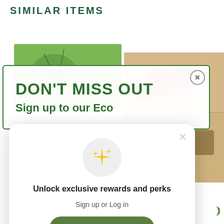SIMILAR ITEMS
[Figure (screenshot): Website popup modal with 'DON'T MISS OUT' and 'Sign up to our Eco' text on green-bordered white modal, with eco/grocery product image on the right]
DON'T MISS OUT
Sign up to our Eco
[Figure (screenshot): Inner popup modal showing sparkle icon, 'Unlock exclusive rewards and perks', 'Sign up or Log in', a green Sign up button, and 'Already have an account? Sign in' text]
Unlock exclusive rewards and perks
Sign up or Log in
Sign up
Already have an account? Sign in